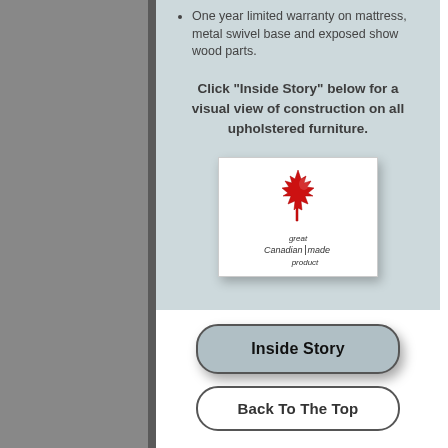One year limited warranty on mattress, metal swivel base and exposed show wood parts.
Click "Inside Story" below for a visual view of construction on all upholstered furniture.
[Figure (logo): Great Canadian Made Product logo with red maple leaf]
[Figure (logo): DECOR-REST FURNITURE LTD logo in black]
Inside Story
Back To The Top